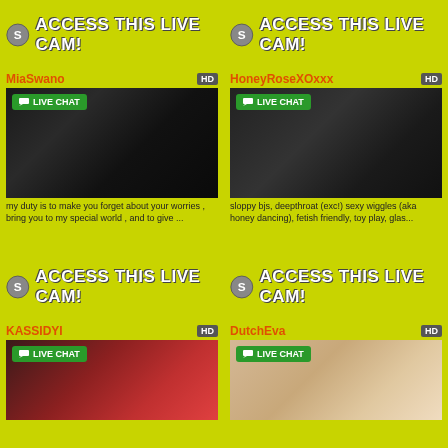ACCESS THIS LIVE CAM!
MiaSwano
[Figure (photo): Live cam preview of MiaSwano with LIVE CHAT button overlay]
my duty is to make you forget about your worries , bring you to my special world , and to give ...
ACCESS THIS LIVE CAM!
HoneyRoseXOxxx
[Figure (photo): Live cam preview of HoneyRoseXOxxx with LIVE CHAT button overlay]
sloppy bjs, deepthroat (exc!) sexy wiggles (aka honey dancing), fetish friendly, toy play, glas...
ACCESS THIS LIVE CAM!
KASSIDYI
[Figure (photo): Live cam preview of KASSIDYI with LIVE CHAT button overlay]
ACCESS THIS LIVE CAM!
DutchEva
[Figure (photo): Live cam preview of DutchEva with LIVE CHAT button overlay]